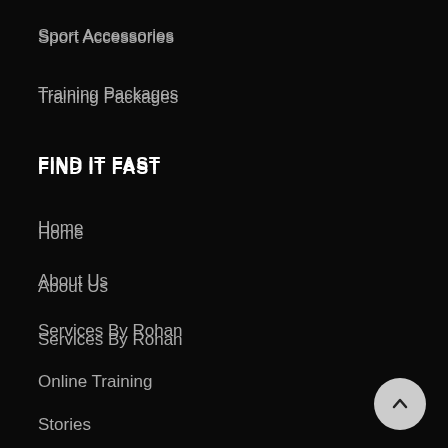Sport Accessories
Training Packages
FIND IT FAST
Home
About Us
Services By Rohan
Online Training
Stories
Seminars
CONTACT DETAILS
Stay Fit With Rohan